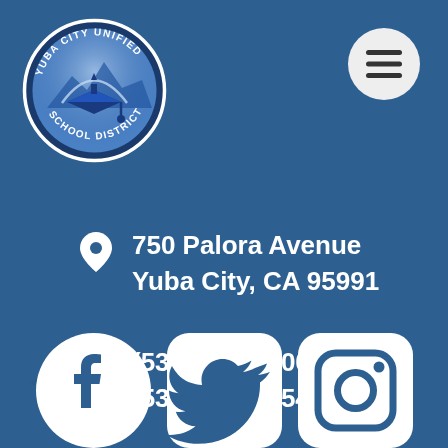[Figure (logo): Yuba City Unified School District circular logo with graduation cap and mountains]
[Figure (other): Hamburger menu button (three horizontal lines in a circle)]
750 Palora Avenue
Yuba City, CA 95991
(530) 822-5200
(530) 671-2454 (fax)
[Figure (other): Social media icons: Facebook, Twitter, Instagram]